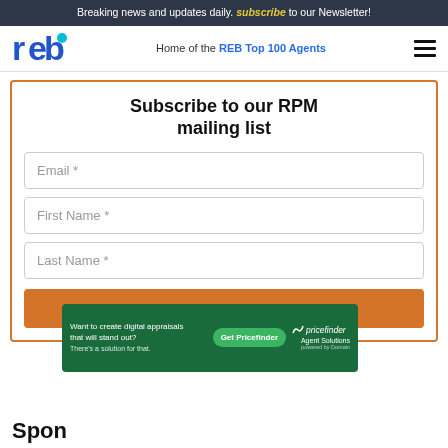Breaking news and updates daily. Subscribe to our Newsletter!
[Figure (logo): REB logo — stylized letters r, e, b in blue with a cyan accent on b]
Home of the REB Top 100 Agents
Subscribe to our RPM mailing list
Email *
First Name *
Last Name *
SUBSCRIBE
[Figure (infographic): Green advertisement banner: 'Want to create digital appraisals that will stand out? There's a solution for that.' with 'Get Pricefinder' green button and Pricefinder Agent Solutions logo]
Spon